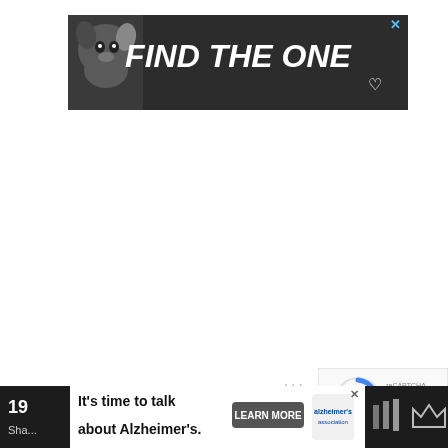[Figure (other): Advertisement banner: dark background with dog image on left and text 'FIND THE ONE' with heart symbol in white bold italic font. Close X button top right.]
[Figure (other): Google reCAPTCHA widget showing spinning arrows logo and Privacy/Terms links below.]
[Figure (other): Bottom advertisement banner: white background with text 'It's time to talk about Alzheimer's.' with Learn More button and Alzheimer's Association logo. Close X button. Dark bottom bar with number 19 and Share text visible behind ad.]